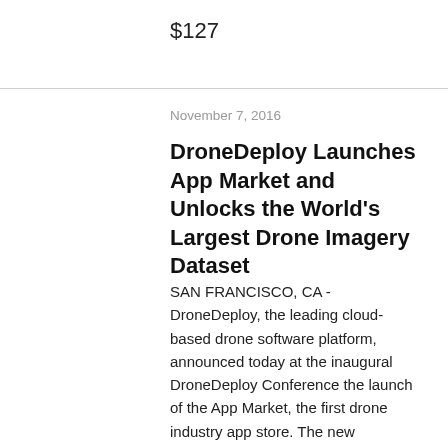$127
November 7, 2016
DroneDeploy Launches App Market and Unlocks the World's Largest Drone Imagery Dataset
SAN FRANCISCO, CA - DroneDeploy, the leading cloud-based drone software platform, announced today at the inaugural DroneDeploy Conference the launch of the App Market, the first drone industry app store. The new DroneDeploy App Market launched with more than 15 inaugural apps, and offers third-party developers access to the largest dataset in the world of